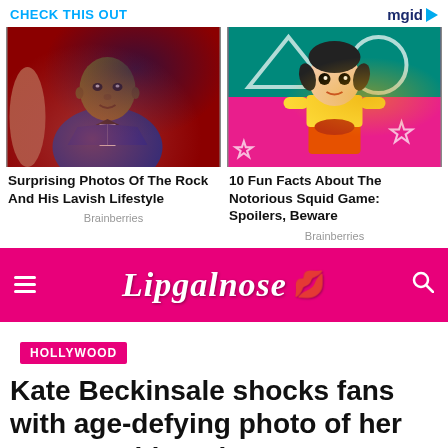CHECK THIS OUT
[Figure (logo): mgid logo with play button arrow]
[Figure (photo): Dwayne 'The Rock' Johnson in blue velvet tuxedo at red carpet event]
Surprising Photos Of The Rock And His Lavish Lifestyle
Brainberries
[Figure (photo): Squid Game doll character on pink background with shapes]
10 Fun Facts About The Notorious Squid Game: Spoilers, Beware
Brainberries
[Figure (logo): Lipgalnose website logo with hamburger menu and search icon on pink background]
HOLLYWOOD
Kate Beckinsale shocks fans with age-defying photo of her 74-year-old mother